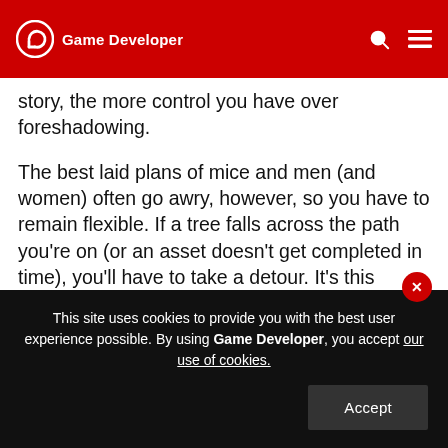Game Developer
story, the more control you have over foreshadowing.
The best laid plans of mice and men (and women) often go awry, however, so you have to remain flexible. If a tree falls across the path you're on (or an asset doesn't get completed in time), you'll have to take a detour. It's this flexibility and practical use of all these questions that makes you a great narrative designer and allows you to create awesome experiences for your players.
This site uses cookies to provide you with the best user experience possible. By using Game Developer, you accept our use of cookies.